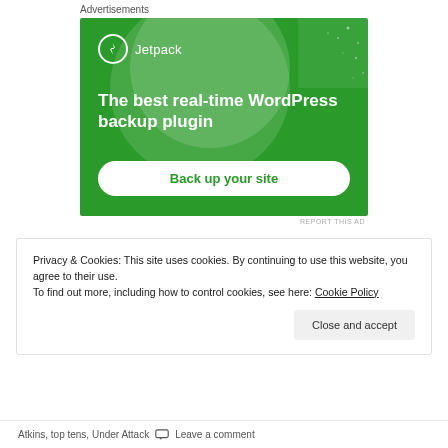Advertisements
[Figure (screenshot): Jetpack advertisement showing 'The best real-time WordPress backup plugin' with a green background, Jetpack logo, and a 'Back up your site' button]
REPORT THIS AD
Privacy & Cookies: This site uses cookies. By continuing to use this website, you agree to their use.
To find out more, including how to control cookies, see here: Cookie Policy
Close and accept
Atkins, top tens, Under Attack   Leave a comment